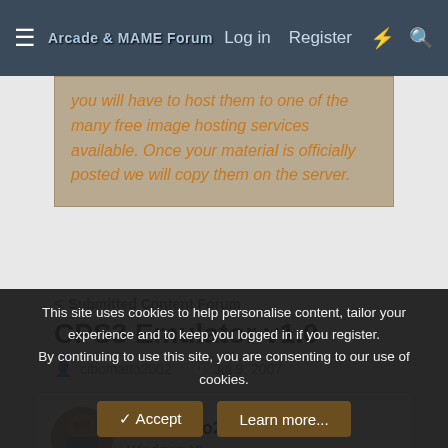Log in  Register
you will have to host them to one of the many free image hosting services available. Once your material is officially posted we will copy them on the server.
< Submitted Content Forum
CPS3 Emulator v1.0
cibomatto2002 · Jul 9, 2007
cibomatto2002
Windows 10
Jul 9, 2007  #1
This site uses cookies to help personalise content, tailor your experience and to keep you logged in if you register.
By continuing to use this site, you are consenting to our use of cookies.